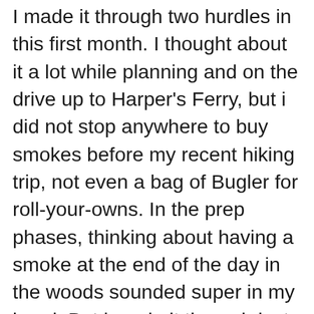I made it through two hurdles in this first month. I thought about it a lot while planning and on the drive up to Harper's Ferry, but i did not stop anywhere to buy smokes before my recent hiking trip, not even a bag of Bugler for roll-your-owns. In the prep phases, thinking about having a smoke at the end of the day in the woods sounded super in my head. But i made it through just fine and had a great time in the woods without smoking. It was so cold that i did not even want to have my hands out of my sleeping bag far enough to hold a book – why on earth would i want to have to deal with the cold just to smoke? My folks went out of town for about week around Thanksgiving and history has shown... Thi...